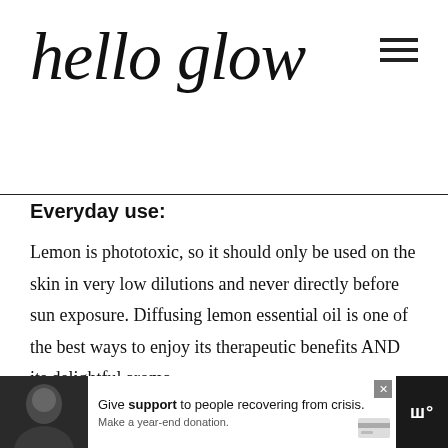hello glow
Everyday use:
Lemon is phototoxic, so it should only be used on the skin in very low dilutions and never directly before sun exposure. Diffusing lemon essential oil is one of the best ways to enjoy its therapeutic benefits AND its delightful aroma.
[Figure (photo): Advertisement banner at bottom: photo of person on left, white ad panel with text 'Give support to people recovering from crisis. Make a year-end donation.' with close button and credit card icon, dark right panel with stylized W logo.]